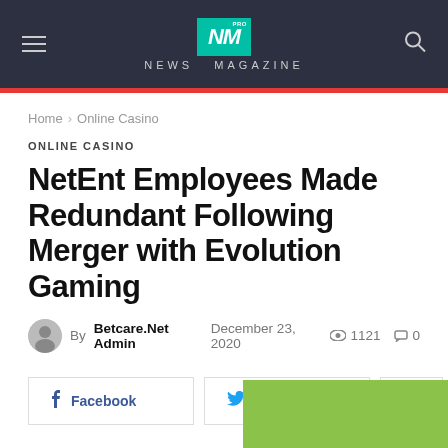NEWS MAGAZINE
Home › Online Casino
ONLINE CASINO
NetEnt Employees Made Redundant Following Merger with Evolution Gaming
By Betcare.Net Admin   December 23, 2020   1121   0
Facebook   Twitter   +